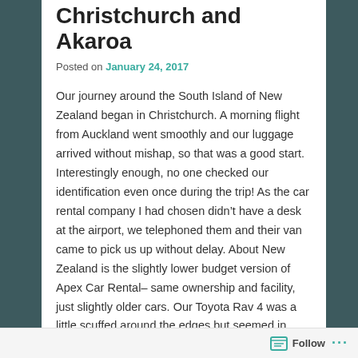Christchurch and Akaroa
Posted on January 24, 2017
Our journey around the South Island of New Zealand began in Christchurch. A morning flight from Auckland went smoothly and our luggage arrived without mishap, so that was a good start. Interestingly enough, no one checked our identification even once during the trip! As the car rental company I had chosen didn’t have a desk at the airport, we telephoned them and their van came to pick us up without delay. About New Zealand is the slightly lower budget version of Apex Car Rental– same ownership and facility, just slightly older cars. Our Toyota Rav 4 was a little scuffed around the edges but seemed in decent working order. I had requested a vehicle with side rails on the roof to make carrying a surfboard easier, but that wasn’t to be. Michael assured me it would be fine and he could cope, so off we went.
The last time I had been in Christchurch was in February
Follow